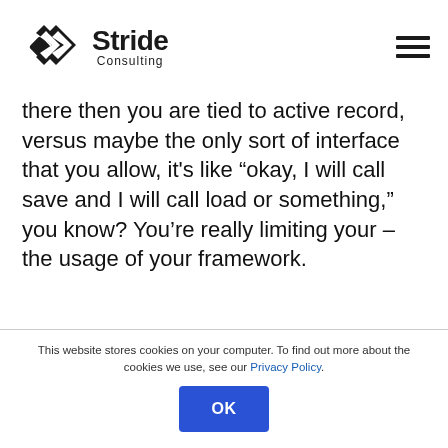Stride Consulting
there then you are tied to active record, versus maybe the only sort of interface that you allow, it’s like “okay, I will call save and I will call load or something,” you know? You’re really limiting your – the usage of your framework.
This website stores cookies on your computer. To find out more about the cookies we use, see our Privacy Policy.